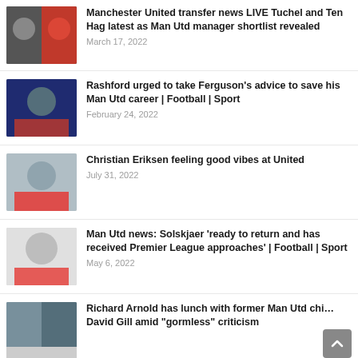Manchester United transfer news LIVE Tuchel and Ten Hag latest as Man Utd manager shortlist revealed — March 17, 2022
Rashford urged to take Ferguson's advice to save his Man Utd career | Football | Sport — February 24, 2022
Christian Eriksen feeling good vibes at United — July 31, 2022
Man Utd news: Solskjaer 'ready to return and has received Premier League approaches' | Football | Sport — May 6, 2022
Richard Arnold has lunch with former Man Utd chief David Gill amid "gormless" criticism